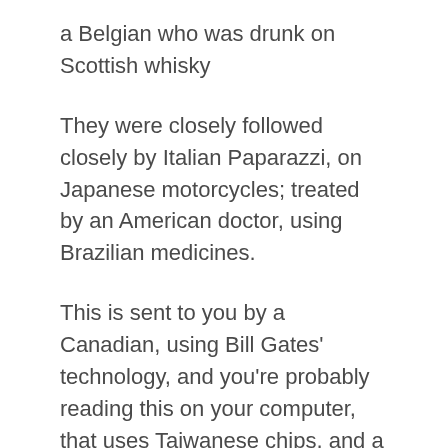a Belgian who was drunk on Scottish whisky
They were closely followed closely by Italian Paparazzi, on Japanese motorcycles; treated by an American doctor, using Brazilian medicines.
This is sent to you by a Canadian, using Bill Gates' technology, and you're probably reading this on your computer, that uses Taiwanese chips, and a Korean monitor
In all probability it was assembled by Bangladeshi workers in a Singapore plant, transported by Indian lorry-drivers, hijacked by Indonesians, unloaded by